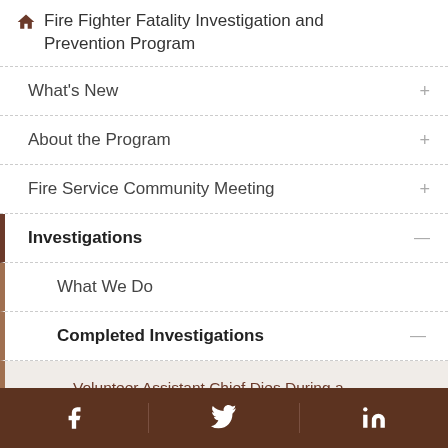Fire Fighter Fatality Investigation and Prevention Program
What's New
About the Program
Fire Service Community Meeting
Investigations
What We Do
Completed Investigations
Volunteer Assistant Chief Dies During a Controlled-Burn Training Evolution Delaware
Facebook | Twitter | LinkedIn